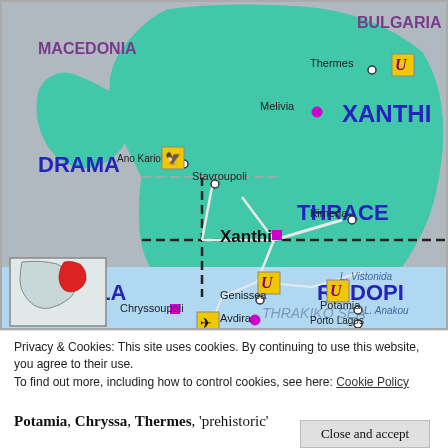[Figure (map): Regional map of Xanthi prefecture in northeastern Greece, showing neighboring regions (Macedonia, Bulgaria, Drama, Thrace, Kavala, Rodopi), towns (Xanthi, Stavroupoli, Kimeria, Genissea, Potamia, Porto Lagos, Avdira, Mangana, Keramoti, Chryssoupoli, Melivia, Thermes, Ano Kariofito), water bodies (L. Vistonida, L. Anakou, Bay Porto Lagos, Thrakiko Sea), roads, and map icons including airport and hotel symbols. Inset map of Greece in lower left corner.]
Privacy & Cookies: This site uses cookies. By continuing to use this website, you agree to their use.
To find out more, including how to control cookies, see here: Cookie Policy
Close and accept
Potamia, Chryssa, Thermes, 'prehistoric'